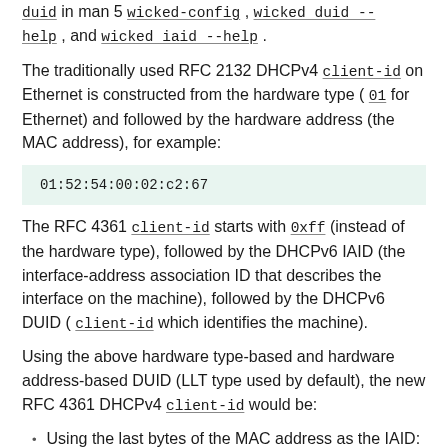duid in man 5 wicked-config , wicked duid --help , and wicked iaid --help .
The traditionally used RFC 2132 DHCPv4 client-id on Ethernet is constructed from the hardware type ( 01 for Ethernet) and followed by the hardware address (the MAC address), for example:
01:52:54:00:02:c2:67
The RFC 4361 client-id starts with 0xff (instead of the hardware type), followed by the DHCPv6 IAID (the interface-address association ID that describes the interface on the machine), followed by the DHCPv6 DUID ( client-id which identifies the machine).
Using the above hardware type-based and hardware address-based DUID (LLT type used by default), the new RFC 4361 DHCPv4 client-id would be:
Using the last bytes of the MAC address as the IAID: